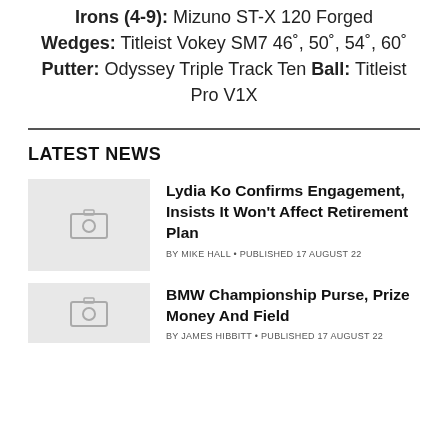Irons (4-9): Mizuno ST-X 120 Forged Wedges: Titleist Vokey SM7 46°, 50°, 54°, 60° Putter: Odyssey Triple Track Ten Ball: Titleist Pro V1X
LATEST NEWS
Lydia Ko Confirms Engagement, Insists It Won't Affect Retirement Plan
BY MIKE HALL • PUBLISHED 17 AUGUST 22
BMW Championship Purse, Prize Money And Field
BY JAMES HIBBITT • PUBLISHED 17 AUGUST 22